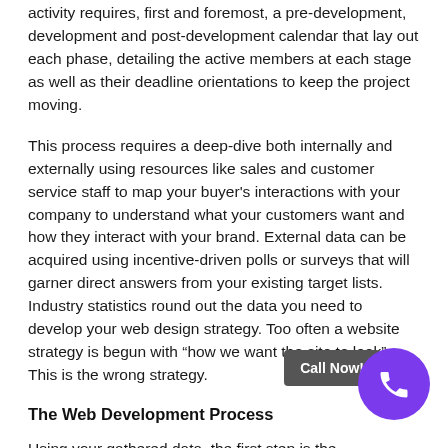activity requires, first and foremost, a pre-development, development and post-development calendar that lay out each phase, detailing the active members at each stage as well as their deadline orientations to keep the project moving.
This process requires a deep-dive both internally and externally using resources like sales and customer service staff to map your buyer's interactions with your company to understand what your customers want and how they interact with your brand. External data can be acquired using incentive-driven polls or surveys that will garner direct answers from your existing target lists. Industry statistics round out the data you need to develop your web design strategy. Too often a website strategy is begun with "how we want the site to look". This is the wrong strategy.
The Web Development Process
Using your gathered data, the first step is the development of your website navigation, keeping in mind at all times how your customers will get the information they need to understand who you are, what you do and what makes you different (a/k/a: better) than your competition. Web[...] on foundation upon which your web design is built, so take the time to consider all interaction types, and how your audience